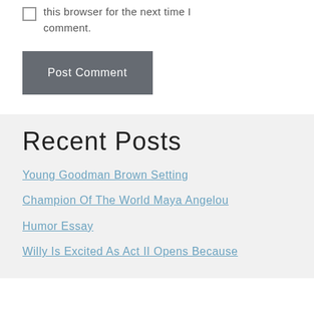this browser for the next time I comment.
Post Comment
Recent Posts
Young Goodman Brown Setting
Champion Of The World Maya Angelou
Humor Essay
Willy Is Excited As Act II Opens Because